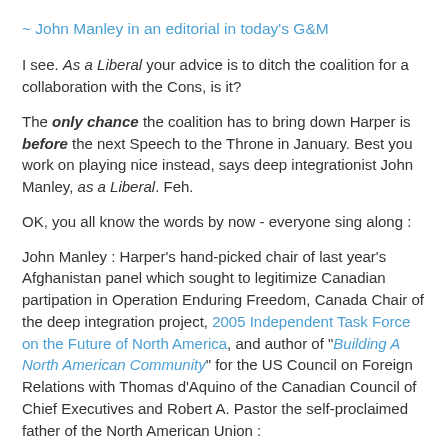~ John Manley in an editorial in today's G&M
I see. As a Liberal your advice is to ditch the coalition for a collaboration with the Cons, is it?
The only chance the coalition has to bring down Harper is before the next Speech to the Throne in January. Best you work on playing nice instead, says deep integrationist John Manley, as a Liberal. Feh.
OK, you all know the words by now - everyone sing along :
John Manley : Harper's hand-picked chair of last year's Afghanistan panel which sought to legitimize Canadian partipation in Operation Enduring Freedom, Canada Chair of the deep integration project, 2005 Independent Task Force on the Future of North America, and author of "Building A North American Community" for the US Council on Foreign Relations with Thomas d'Aquino of the Canadian Council of Chief Executives and Robert A. Pastor the self-proclaimed father of the North American Union :